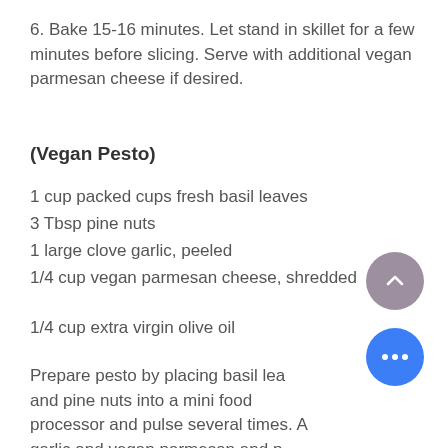6. Bake 15-16 minutes. Let stand in skillet for a few minutes before slicing. Serve with additional vegan parmesan cheese if desired.
(Vegan Pesto)
1 cup packed cups fresh basil leaves
3 Tbsp pine nuts
1 large clove garlic, peeled
1/4 cup vegan parmesan cheese, shredded
1/4 cup extra virgin olive oil
Prepare pesto by placing basil leaves and pine nuts into a mini food processor and pulse several times. Add garlic and vegan parmesan and pulse several times more scraping down the